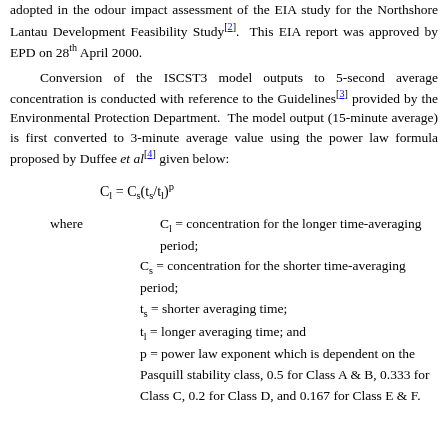adopted in the odour impact assessment of the EIA study for the Northshore Lantau Development Feasibility Study[2]. This EIA report was approved by EPD on 28th April 2000.
Conversion of the ISCST3 model outputs to 5-second average concentration is conducted with reference to the Guidelines[3] provided by the Environmental Protection Department. The model output (15-minute average) is first converted to 3-minute average value using the power law formula proposed by Duffee et al[4] given below:
where   C_l = concentration for the longer time-averaging period;
  C_s = concentration for the shorter time-averaging period;
  t_s = shorter averaging time;
  t_l = longer averaging time; and
  p = power law exponent which is dependent on the Pasquill stability class, 0.5 for Class A & B, 0.333 for Class C, 0.2 for Class D, and 0.167 for Class E & F.